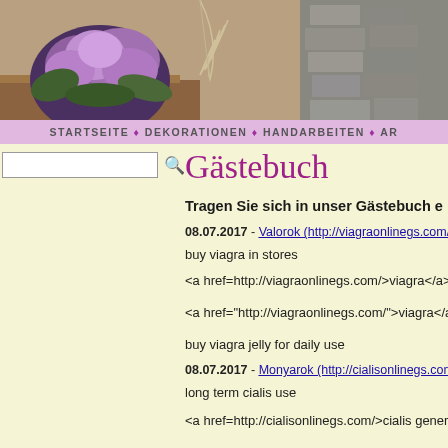[Figure (photo): Banner photo of decorative purple kale plant with feather and stone wall in background]
STARTSEITE ♦ DEKORATIONEN ♦ HANDARBEITEN ♦ AR
Gästebuch
Tragen Sie sich in unser Gästebuch e
08.07.2017 - Valorok (http://viagraonlinegs.com/)
buy viagra in stores

<a href=http://viagraonlinegs.com/>viagra</a>

<a href="http://viagraonlinegs.com/">viagra</a>

buy viagra jelly for daily use

08.07.2017 - Monyarok (http://cialisonlinegs.com/)
long term cialis use

<a href=http://cialisonlinegs.com/>cialis generic